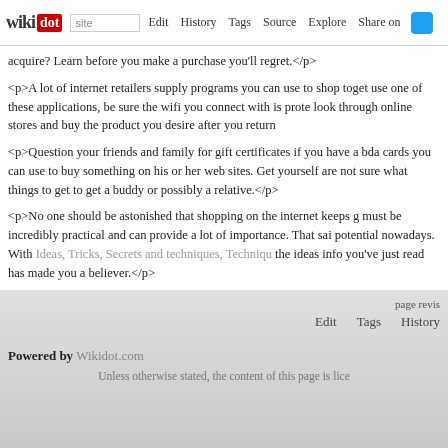wikidot | Edit | History | Tags | Source | Explore | Share on
acquire? Learn before you make a purchase you'll regret.</p>
<p>A lot of internet retailers supply programs you can use to shop together, use one of these applications, be sure the wifi you connect with is protected, look through online stores and buy the product you desire after you return
<p>Question your friends and family for gift certificates if you have a bda, cards you can use to buy something on his or her web sites. Get yourself are not sure what things to get to get a buddy or possibly a relative.</p>
<p>No one should be astonished that shopping on the internet keeps growing, must be incredibly practical and can provide a lot of importance. That said, potential nowadays. With Ideas, Tricks, Secrets and techniques, Techniques the ideas info you've just read has made you a believer.</p>
Comments: 0
Add a New Comment
page revis | Edit | Tags | History
Powered by Wikidot.com
Unless otherwise stated, the content of this page is lice